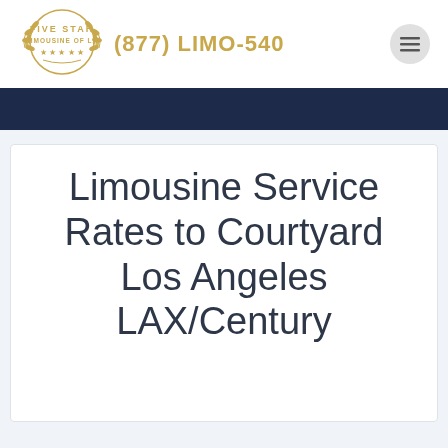[Figure (logo): Five Star Limousine of LA circular laurel wreath logo with stars]
(877) LIMO-540
Limousine Service Rates to Courtyard Los Angeles LAX/Century